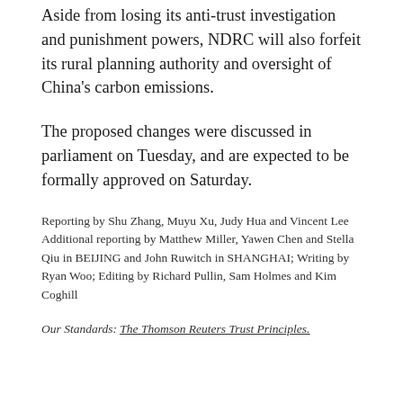Aside from losing its anti-trust investigation and punishment powers, NDRC will also forfeit its rural planning authority and oversight of China's carbon emissions.
The proposed changes were discussed in parliament on Tuesday, and are expected to be formally approved on Saturday.
Reporting by Shu Zhang, Muyu Xu, Judy Hua and Vincent Lee Additional reporting by Matthew Miller, Yawen Chen and Stella Qiu in BEIJING and John Ruwitch in SHANGHAI; Writing by Ryan Woo; Editing by Richard Pullin, Sam Holmes and Kim Coghill
Our Standards: The Thomson Reuters Trust Principles.